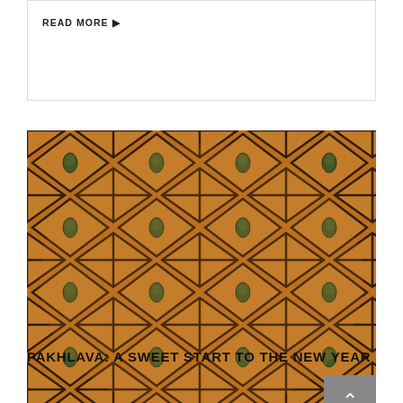READ MORE ▶
[Figure (photo): Close-up overhead photo of pakhlava (baklava) arranged in a diamond/rhombus pattern with dark nuts (pistachios) in the center of each piece, golden-brown pastry color]
PAKHLAVA: A SWEET START TO THE NEW YEAR